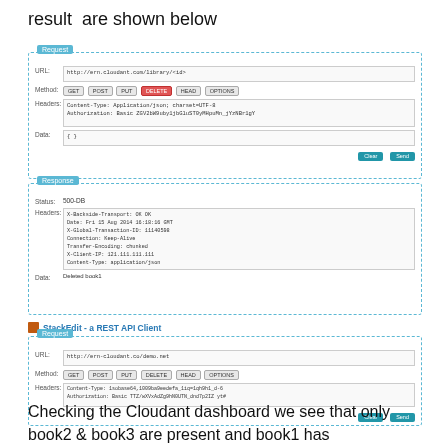result  are shown below
[Figure (screenshot): REST API Client Request panel showing DELETE method selected, URL http://ern.cloudant.com/library/<id>, Headers with Content-Type and Authorization, Data field with {}, Clear and Send buttons]
[Figure (screenshot): REST API Client Response panel showing Status 500-DB, Headers with X-Backside-Transport OK OK, Date, X-Global-Transaction-ID, Connection Keep-Alive, Transfer-Encoding chunked, X-Client-IP, Content-Type application/json, Data: Deleted book1]
StackEdit - a REST API Client
[Figure (screenshot): REST API Client Request panel 2 showing GET/POST/PUT/DELETE/HEAD/OPTIONS method buttons, URL http://ern-cloudant.co/demo.net, Headers with Content-Type and Authorization fields, Clear and Send buttons]
[Figure (screenshot): REST API Client Response panel 2 showing Status 200-OK, Headers including X-Backside-Transport, Date, X-Global-Transaction-ID, Connection Keep-Alive, Transfer-Encoding chunked, X-Client-IP, Content-Type application/json, Data showing book results]
Checking the Cloudant dashboard we see that only book2 & book3 are present and book1 has